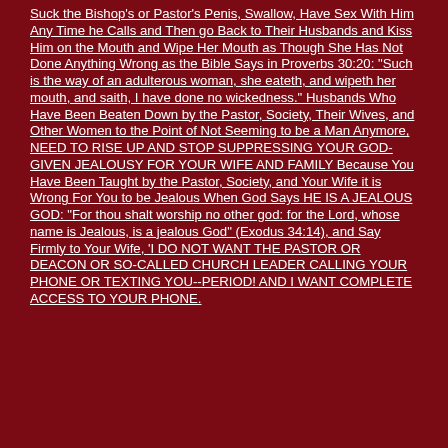Suck the Bishop's or Pastor's Penis, Swallow, Have Sex With Him Any Time he Calls and Then go Back to Their Husbands and Kiss Him on the Mouth and Wipe Her Mouth as Though She Has Not Done Anything Wrong as the Bible Says in Proverbs 30:20: "Such is the way of an adulterous woman, she eateth, and wipeth her mouth, and saith, I have done no wickedness." Husbands Who Have Been Beaten Down by the Pastor, Society, Their Wives, and Other Women to the Point of Not Seeming to be a Man Anymore, NEED TO RISE UP AND STOP SUPPRESSING YOUR GOD-GIVEN JEALOUSY FOR YOUR WIFE AND FAMILY Because You Have Been Taught by the Pastor, Society, and Your Wife it is Wrong For You to be Jealous When God Says HE IS A JEALOUS GOD: "For thou shalt worship no other god: for the Lord, whose name is Jealous, is a jealous God" (Exodus 34:14), and Say Firmly to Your Wife, 'I DO NOT WANT THE PASTOR OR DEACON OR SO-CALLED CHURCH LEADER CALLING YOUR PHONE OR TEXTING YOU--PERIOD! AND I WANT COMPLETE ACCESS TO YOUR PHONE.